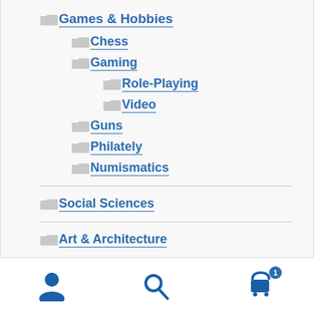Games & Hobbies
Chess
Gaming
Role-Playing
Video
Guns
Philately
Numismatics
Social Sciences
Art & Architecture
[Figure (screenshot): Bottom navigation bar with user icon, search icon, and cart icon with badge showing 1]